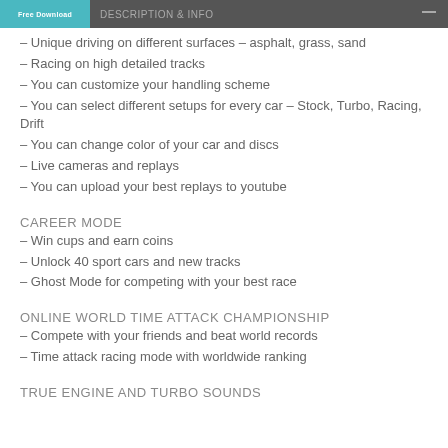Free Download [header bar with logo]
– Unique driving on different surfaces – asphalt, grass, sand
– Racing on high detailed tracks
– You can customize your handling scheme
– You can select different setups for every car – Stock, Turbo, Racing, Drift
– You can change color of your car and discs
– Live cameras and replays
– You can upload your best replays to youtube
CAREER MODE
– Win cups and earn coins
– Unlock 40 sport cars and new tracks
– Ghost Mode for competing with your best race
ONLINE WORLD TIME ATTACK CHAMPIONSHIP
– Compete with your friends and beat world records
– Time attack racing mode with worldwide ranking
TRUE ENGINE AND TURBO SOUNDS